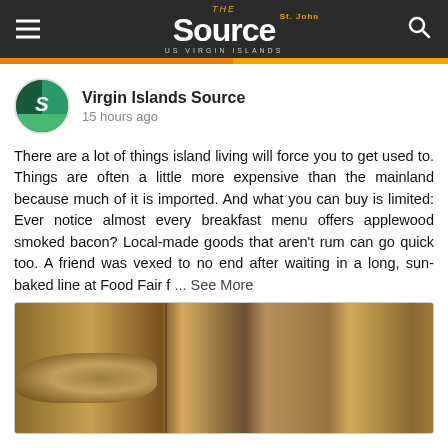The St. John Source — US Virgin Islands
Virgin Islands Source
15 hours ago
There are a lot of things island living will force you to get used to. Things are often a little more expensive than the mainland because much of it is imported. And what you can buy is limited: Ever notice almost every breakfast menu offers applewood smoked bacon? Local-made goods that aren't rum can go quick too. A friend was vexed to no end after waiting in a long, sun-baked line at Food Fair f ... See More
[Figure (photo): Photo showing wooden surfaces with food items, appears to be a two-panel image showing wood grain texture with a food item on the left panel]